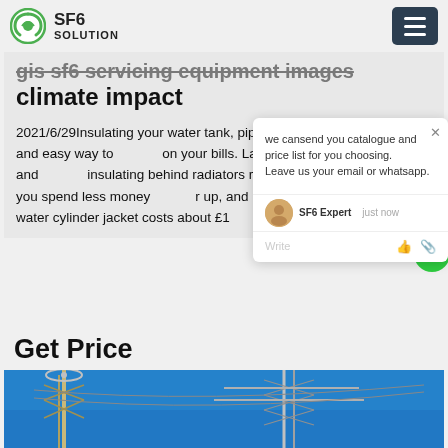SF6 SOLUTION
gis sf6 servicing equipment images climate impact
2021/6/29Insulating your water tank, pipes and radiators is a quick and easy way to on your bills. Lagging water tanks and insulating behind radiators reduces f heat lost, so you spend less money r up, and hot water stays hotter f water cylinder jacket costs about £1 it is a
we cansend you catalogue and price list for you choosing. Leave us your email or whatsapp.
SF6 Expert    just now
Write
Get Price
[Figure (photo): Photo of electrical transmission tower / substation equipment against a blue sky background — metal lattice tower with high voltage insulators and conductors]